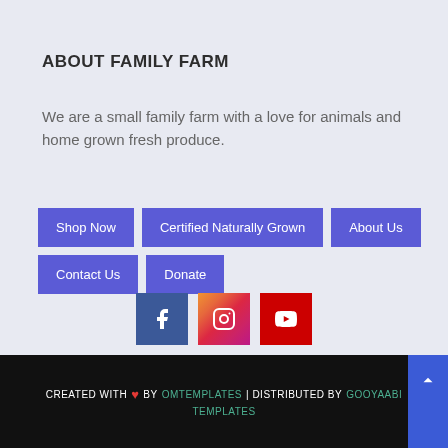ABOUT FAMILY FARM
We are a small family farm with a love for animals and home grown fresh produce.
Shop Now
Certified Naturally Grown
About Us
Contact Us
Donate
[Figure (other): Social media icons for Facebook, Instagram, and YouTube]
CREATED WITH ❤ BY OMTEMPLATES | DISTRIBUTED BY GOOYAABI TEMPLATES